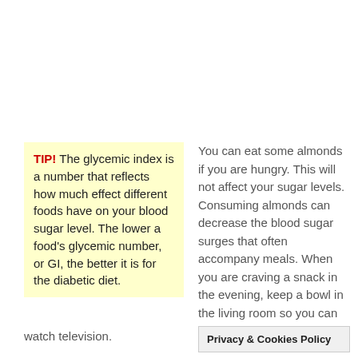TIP! The glycemic index is a number that reflects how much effect different foods have on your blood sugar level. The lower a food's glycemic number, or GI, the better it is for the diabetic diet.
You can eat some almonds if you are hungry. This will not affect your sugar levels. Consuming almonds can decrease the blood sugar surges that often accompany meals. When you are craving a snack in the evening, keep a bowl in the living room so you can munch on them while you watch television.
Privacy & Cookies Policy